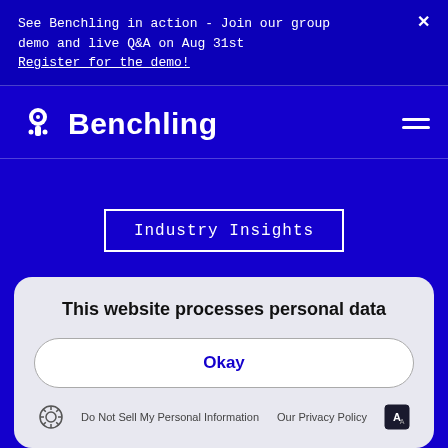See Benchling in action - Join our group demo and live Q&A on Aug 31st
Register for the demo!
Benchling
Industry Insights
This website processes personal data
Okay
Do Not Sell My Personal Information   Our Privacy Policy